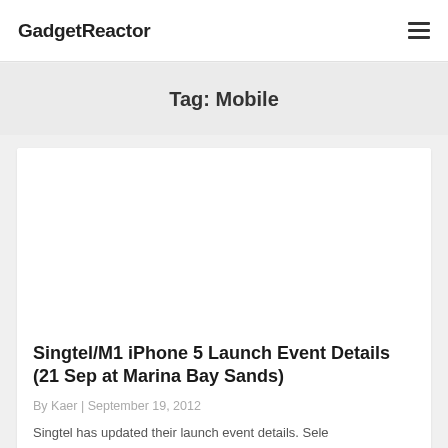GadgetReactor
Tag: Mobile
Singtel/M1 iPhone 5 Launch Event Details (21 Sep at Marina Bay Sands)
By Kaer | September 19, 2012
Singtel has updated their launch event details. Sele